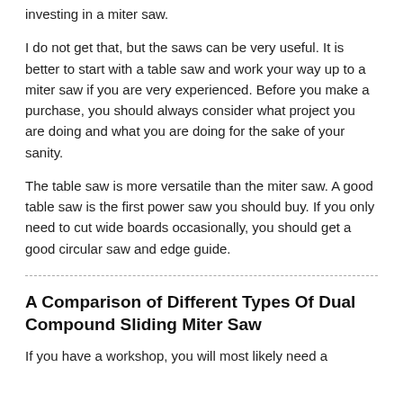investing in a miter saw.
I do not get that, but the saws can be very useful. It is better to start with a table saw and work your way up to a miter saw if you are very experienced. Before you make a purchase, you should always consider what project you are doing and what you are doing for the sake of your sanity.
The table saw is more versatile than the miter saw. A good table saw is the first power saw you should buy. If you only need to cut wide boards occasionally, you should get a good circular saw and edge guide.
A Comparison of Different Types Of Dual Compound Sliding Miter Saw
If you have a workshop, you will most likely need a